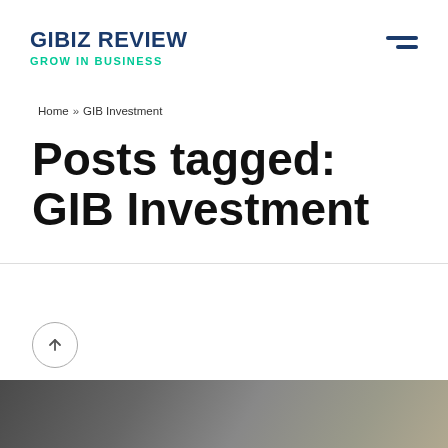GIBIZ REVIEW
GROW IN BUSINESS
Home » GIB Investment
Posts tagged: GIB Investment
[Figure (photo): Bottom partial image, appears to be a dark financial/business themed photograph, partially cut off at the bottom of the page.]